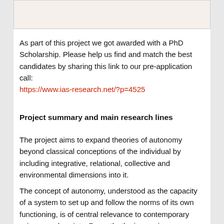[Figure (photo): Partial image visible at the top of the page, appears to be a cropped photograph or illustration related to the project.]
As part of this project we got awarded with a PhD Scholarship. Please help us find and match the best candidates by sharing this link to our pre-application call: https://www.ias-research.net/?p=4525
Project summary and main research lines
The project aims to expand theories of autonomy beyond classical conceptions of the individual by including integrative, relational, collective and environmental dimensions into it.
The concept of autonomy, understood as the capacity of a system to set up and follow the norms of its own functioning, is of central relevance to contemporary science and society. Recently, the increasing acknowledgement of the deep interconnectedness, mutual dependence and multi-scale embeddedness of several natural and social phenomena, has directly